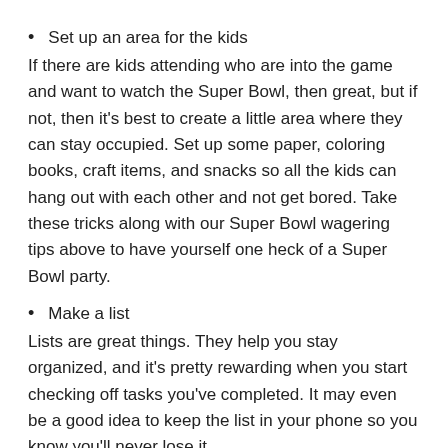Set up an area for the kids
If there are kids attending who are into the game and want to watch the Super Bowl, then great, but if not, then it's best to create a little area where they can stay occupied. Set up some paper, coloring books, craft items, and snacks so all the kids can hang out with each other and not get bored. Take these tricks along with our Super Bowl wagering tips above to have yourself one heck of a Super Bowl party.
Make a list
Lists are great things. They help you stay organized, and it's pretty rewarding when you start checking off tasks you've completed. It may even be a good idea to keep the list in your phone so you know you'll never lose it.
Make it self-serve
When the Super Bowl is on, you want to concentrate on watching the game, not getting up and down to serve everyone.